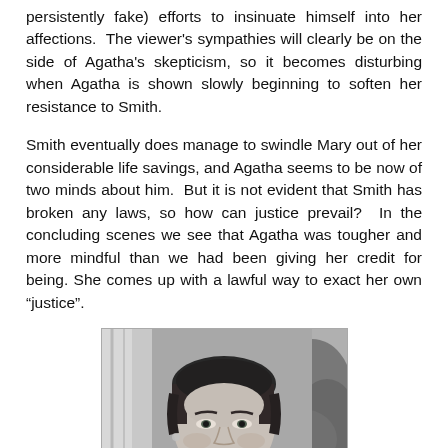persistently fake) efforts to insinuate himself into her affections. The viewer's sympathies will clearly be on the side of Agatha's skepticism, so it becomes disturbing when Agatha is shown slowly beginning to soften her resistance to Smith.
Smith eventually does manage to swindle Mary out of her considerable life savings, and Agatha seems to be now of two minds about him. But it is not evident that Smith has broken any laws, so how can justice prevail? In the concluding scenes we see that Agatha was tougher and more mindful than we had been giving her credit for being. She comes up with a lawful way to exact her own “justice”.
[Figure (photo): Black and white photograph of a middle-aged woman with short dark hair, looking directly at the camera with a serious expression. Background shows curtains and foliage.]